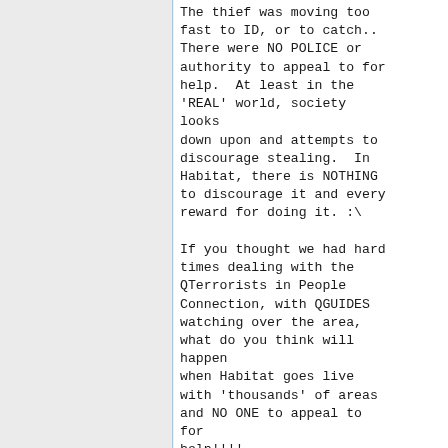The thief was moving too fast to ID, or to catch.. There were NO POLICE or authority to appeal to for help.  At least in the 'REAL' world, society looks
down upon and attempts to discourage stealing.  In Habitat, there is NOTHING to discourage it and every reward for doing it. :\

If you thought we had hard times dealing with the QTerrorists in People Connection, with QGUIDES watching over the area, what do you think will happen
when Habitat goes live with 'thousands' of areas and NO ONE to appeal to for
help!!!!